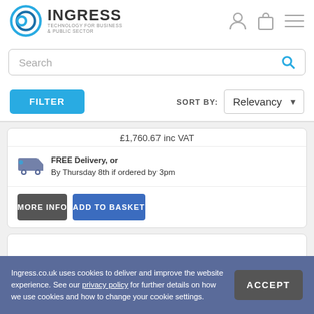[Figure (logo): Ingress Technology for Business & Public Sector logo with blue circular icon]
Search
FILTER   SORT BY: Relevancy
£1,760.67 inc VAT
FREE Delivery, or
By Thursday 8th if ordered by 3pm
MORE INFO
ADD TO BASKET
Ingress.co.uk uses cookies to deliver and improve the website experience. See our privacy policy for further details on how we use cookies and how to change your cookie settings.
ACCEPT